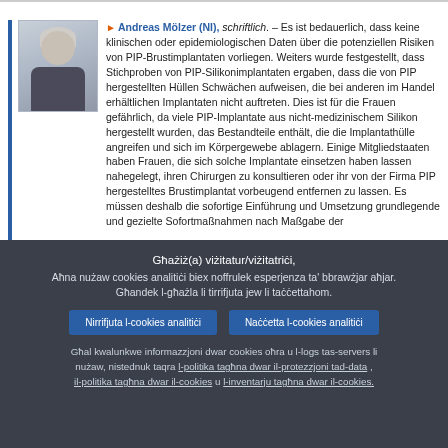[Figure (photo): Headshot photo of Andreas Mölzer, middle-aged man with grey hair, wearing a dark suit]
▶ Andreas Mölzer (NI), schriftlich. – Es ist bedauerlich, dass keine klinischen oder epidemiologischen Daten über die potenziellen Risiken von PIP-Brustimplantaten vorliegen. Weiters wurde festgestellt, dass Stichproben von PIP-Silikonimplantaten ergaben, dass die von PIP hergestellten Hüllen Schwächen aufweisen, die bei anderen im Handel erhältlichen Implantaten nicht auftreten. Dies ist für die Frauen gefährlich, da viele PIP-Implantate aus nicht-medizinischem Silikon hergestellt wurden, das Bestandteile enthält, die die Implantathülle angreifen und sich im Körpergewebe ablagern. Einige Mitgliedstaaten haben Frauen, die sich solche Implantate einsetzen haben lassen nahegelegt, ihren Chirurgen zu konsultieren oder ihr von der Firma PIP hergestelltes Brustimplantat vorbeugend entfernen zu lassen. Es müssen deshalb die sofortige Einführung und Umsetzung grundlegende und gezielte Sofortmaßnahmen nach Maßgabe der
Għażiż(a) viżitatur/viżitatriċi,
Aħna nużaw cookies analitiċi biex noffrulek esperjenza ta' bbrawżjar aħjar.
Għandek l-għażla li tirrifjuta jew li taċċettahom.
Nirrifjuta l-cookies analitiċi
Naċċetta l-cookies analitiċi
Għal kwalunkwe informazzjoni dwar cookies oħra u l-logs tas-servers li nużaw, nistednuk taqra l-politika tagħna dwar il-protezzjoni tad-data , il-politika tagħna dwar il-cookies u l-inventarju tagħna dwar il-cookies.